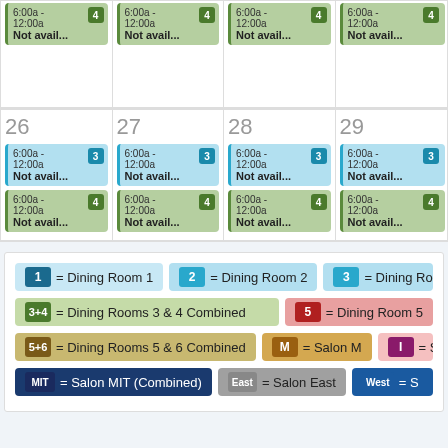|  |  |  |  |
| --- | --- | --- | --- |
| 6:00a - 12:00a Not avail... [4] | 6:00a - 12:00a Not avail... [4] | 6:00a - 12:00a Not avail... [4] | 6:00a - 12:00a Not avail... [4] |
| 26 6:00a-12:00a Not avail...[3] 6:00a-12:00a Not avail...[4] | 27 6:00a-12:00a Not avail...[3] 6:00a-12:00a Not avail...[4] | 28 6:00a-12:00a Not avail...[3] 6:00a-12:00a Not avail...[4] | 29 6:00a-12:00a Not avail...[3] 6:00a-12:00a Not avail...[4] |
1 = Dining Room 1   2 = Dining Room 2   3 = Dining Room
3+4 = Dining Rooms 3 & 4 Combined   5 = Dining Room 5
5+6 = Dining Rooms 5 & 6 Combined   M = Salon M   I = S
MIT = Salon MIT (Combined)   East = Salon East   West = S